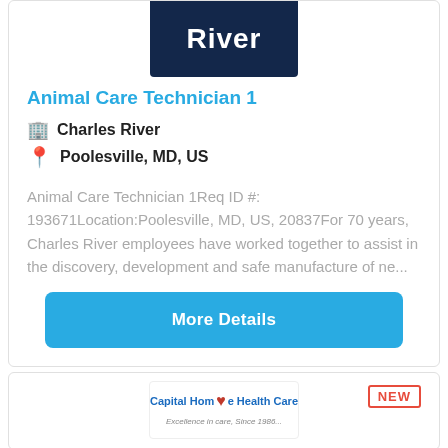[Figure (logo): Charles River logo — white text 'River' on dark navy blue background]
Animal Care Technician 1
Charles River
Poolesville, MD, US
Animal Care Technician 1Req ID #: 193671Location:Poolesville, MD, US, 20837For 70 years, Charles River employees have worked together to assist in the discovery, development and safe manufacture of ne...
More Details
NEW
[Figure (logo): Capital Home Health Care logo with red heart outline and blue text]